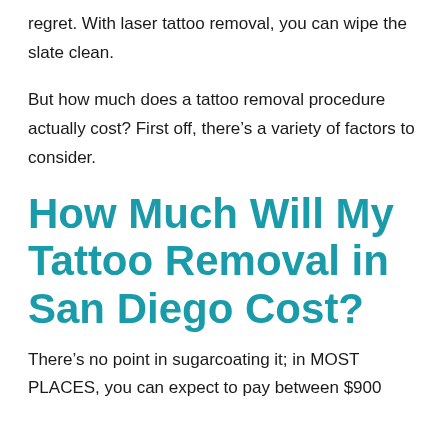regret. With laser tattoo removal, you can wipe the slate clean.
But how much does a tattoo removal procedure actually cost? First off, there’s a variety of factors to consider.
How Much Will My Tattoo Removal in San Diego Cost?
There’s no point in sugarcoating it; in MOST PLACES, you can expect to pay between $900